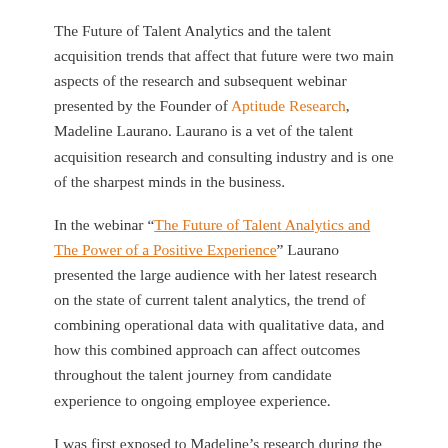The Future of Talent Analytics and the talent acquisition trends that affect that future were two main aspects of the research and subsequent webinar presented by the Founder of Aptitude Research, Madeline Laurano. Laurano is a vet of the talent acquisition research and consulting industry and is one of the sharpest minds in the business.
In the webinar “The Future of Talent Analytics and The Power of a Positive Experience” Laurano presented the large audience with her latest research on the state of current talent analytics, the trend of combining operational data with qualitative data, and how this combined approach can affect outcomes throughout the talent journey from candidate experience to ongoing employee experience.
I was first exposed to Madeline’s research during the